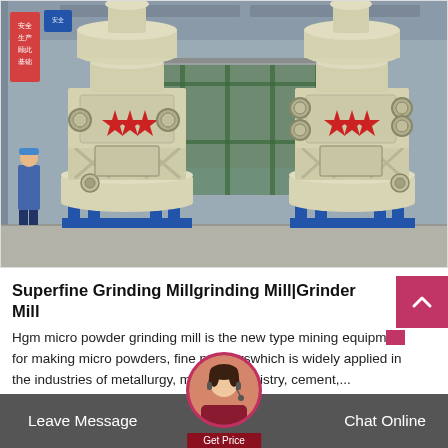[Figure (photo): Two large cream/beige colored Superfine Grinding Mill (HGM micro powder grinding mill) machines standing on blue metal bases inside a factory/industrial workshop. The machines have red star emblems and red circular valves. Background shows green fencing and grey tarpaulin in an industrial setting.]
Superfine Grinding Millgrinding Mill|Grinder Mill
Hgm micro powder grinding mill is the new type mining equipment for making micro powders, fine powderswhich is widely applied in the industries of metallurgy, m...hemistry, cement,...
Leave Message    Chat Online